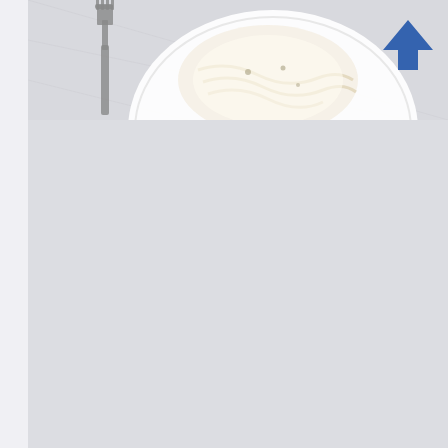[Figure (photo): Top-down view of a white plate with large round pumpkin ravioli, served with cream sauce and garnished with herbs, alongside a fork on a light gray background]
Large Round Pumpkin Ravioli
Our Price: $10.99
[Figure (photo): Top-down view of a white plate with pasta in cream sauce, alongside a fork on a light gray background. A blue upward arrow (back-to-top button) is visible in the upper right corner of the image area]